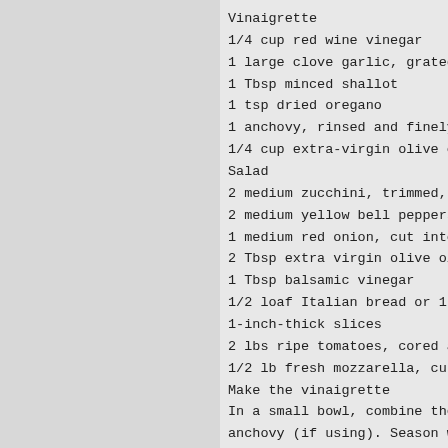Vinaigrette
1/4 cup red wine vinegar
1 large clove garlic, grated on a microplane
1 Tbsp minced shallot
1 tsp dried oregano
1 anchovy, rinsed and finely chopped (optional)
1/4 cup extra-virgin olive oil
Salad
2 medium zucchini, trimmed, cut lengthwise into
2 medium yellow bell peppers, cored and seeded
1 medium red onion, cut into 1/4-inch-thick
2 Tbsp extra virgin olive oil
1 Tbsp balsamic vinegar
1/2 loaf Italian bread or 1 small gluten-free
1-inch-thick slices
2 lbs ripe tomatoes, cored and coarsely chopped
1/2 lb fresh mozzarella, cut into 1/2-inch pieces
Make the vinaigrette
In a small bowl, combine the red wine vinegar,
anchovy (if using). Season with salt and pepper.